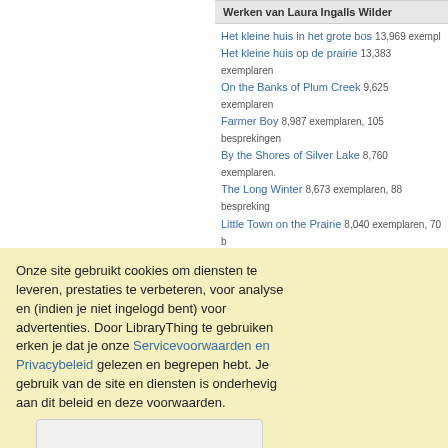Werken van Laura Ingalls Wilder
Het kleine huis in het grote bos 13,969 exemplaren
Het kleine huis op de prairie 13,383 exemplaren
On the Banks of Plum Creek 9,625 exemplaren
Farmer Boy 8,987 exemplaren, 105 besprekingen
By the Shores of Silver Lake 8,760 exemplaren.
The Long Winter 8,673 exemplaren, 88 besprekingen
Little Town on the Prairie 8,040 exemplaren, 70 b
De gyldne lykkeår 7,636 exemplaren, 56 besprekingen
The First Four Years (Auteur) 6,857 exemplaren
The Complete Little House Nine-Book Set
Onze site gebruikt cookies om diensten te leveren, prestaties te verbeteren, voor analyse en (indien je niet ingelogd bent) voor advertenties. Door LibraryThing te gebruiken erken je dat je onze Servicevoorwaarden en Privacybeleid gelezen en begrepen hebt. Je gebruik van de site en diensten is onderhevig aan dit beleid en deze voorwaarden.
[Figure (other): Button labeled 'Ik ga akkoord' (I agree) — cookie consent button]